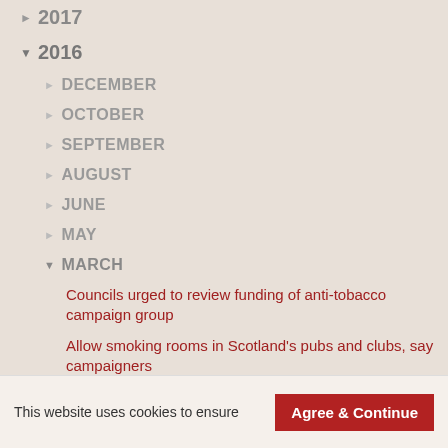▶ 2017
▼ 2016
▶ DECEMBER
▶ OCTOBER
▶ SEPTEMBER
▶ AUGUST
▶ JUNE
▶ MAY
▼ MARCH
Councils urged to review funding of anti-tobacco campaign group
Allow smoking rooms in Scotland's pubs and clubs, say campaigners
Poll: Majority of adults in Scotland would allow
This website uses cookies to ensure
Agree & Continue